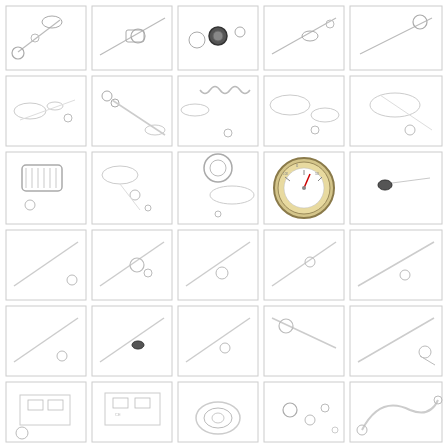[Figure (engineering-diagram): Grid of 30 engineering part diagrams showing various mechanical components including connectors, springs, gauges, cables, and assemblies arranged in a 5x6 grid layout]